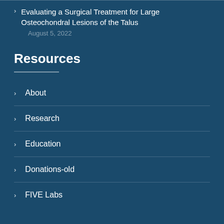Evaluating a Surgical Treatment for Large Osteochondral Lesions of the Talus
August 5, 2022
Resources
About
Research
Education
Donations-old
FIVE Labs